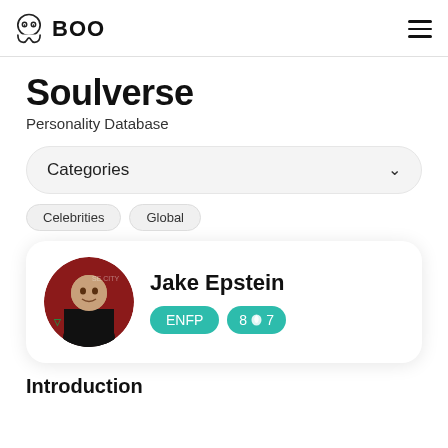BOO
Soulverse
Personality Database
Categories
Celebrities  Global
Jake Epstein  ENFP  8w7
Introduction